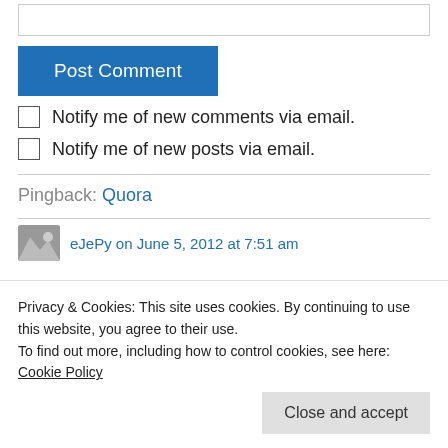[Figure (screenshot): Text input box (comment field), partially visible at top]
Post Comment
Notify me of new comments via email.
Notify me of new posts via email.
Pingback: Quora
eJePy on June 5, 2012 at 7:51 am
Privacy & Cookies: This site uses cookies. By continuing to use this website, you agree to their use.
To find out more, including how to control cookies, see here: Cookie Policy
Close and accept